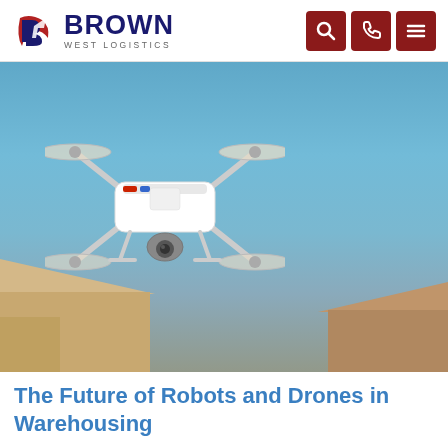Brown West Logistics
[Figure (photo): A white quadcopter drone flying in a blue sky with blurred warehouse buildings in the background]
The Future of Robots and Drones in Warehousing